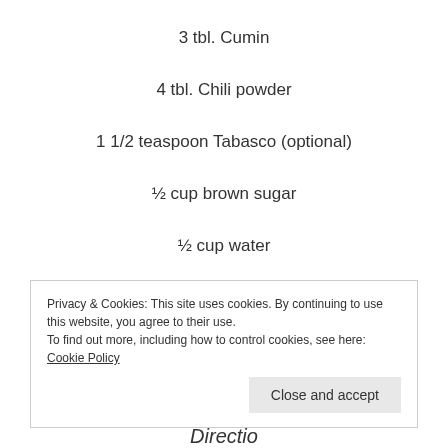3 tbl. Cumin
4 tbl. Chili powder
1 1/2 teaspoon Tabasco (optional)
½ cup brown sugar
½ cup water
Cheddar cheese, shredded
Privacy & Cookies: This site uses cookies. By continuing to use this website, you agree to their use.
To find out more, including how to control cookies, see here: Cookie Policy
Directions